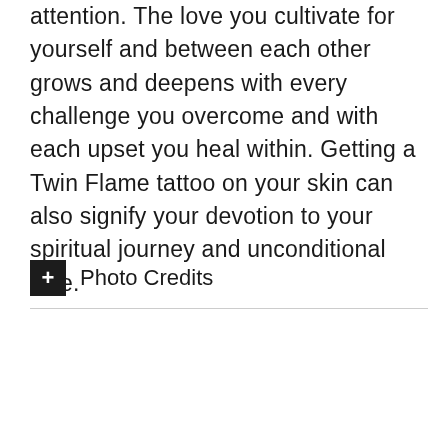attention. The love you cultivate for yourself and between each other grows and deepens with every challenge you overcome and with each upset you heal within. Getting a Twin Flame tattoo on your skin can also signify your devotion to your spiritual journey and unconditional love.
+ Photo Credits